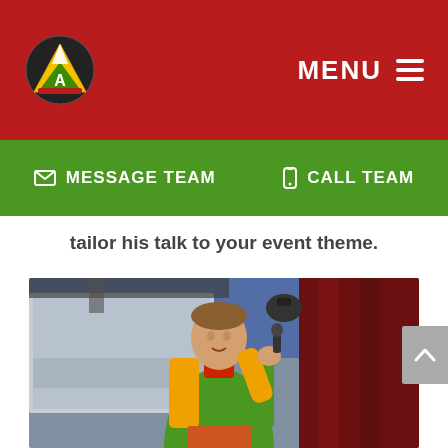MENU
MESSAGE TEAM   CALL TEAM
tailor his talk to your event theme.
[Figure (photo): A man in a green and yellow jacket speaking on stage, holding a microphone, with a projection screen behind him and red curtain to the right.]